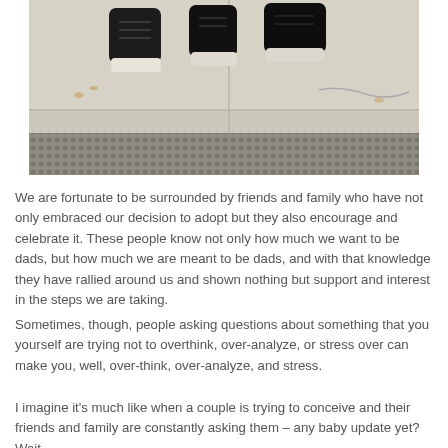[Figure (photo): Photo showing the feet/shoes of multiple people standing on a sidewalk with concrete slabs and a textured curb strip]
We are fortunate to be surrounded by friends and family who have not only embraced our decision to adopt but they also encourage and celebrate it. These people know not only how much we want to be dads, but how much we are meant to be dads, and with that knowledge they have rallied around us and shown nothing but support and interest in the steps we are taking.
Sometimes, though, people asking questions about something that you yourself are trying not to overthink, over-analyze, or stress over can make you, well, over-think, over-analyze, and stress.
I imagine it's much like when a couple is trying to conceive and their friends and family are constantly asking them – any baby update yet? Wait…